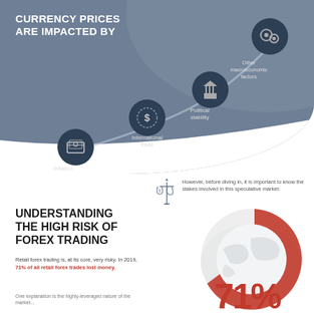CURRENCY PRICES ARE IMPACTED BY
[Figure (infographic): Curved path with four dark spherical icons representing factors impacting currency prices: Inflation (money/cash icon), International trade (dollar sign icon), Political stability (bank/institution icon), Other macroeconomic factors (gears icon). Labels appear next to each sphere along a rising curved arc on a slate-blue background.]
[Figure (infographic): Balance/scales icon with text: However, before diving in, it is important to know the stakes involved in this speculative market.]
UNDERSTANDING THE HIGH RISK OF FOREX TRADING
Retail forex trading is, at its core, very risky. In 2019, 71% of all retail forex trades lost money.
[Figure (donut-chart): 71% of retail forex trades lost money]
One explanation is the highly-leveraged nature of the market...